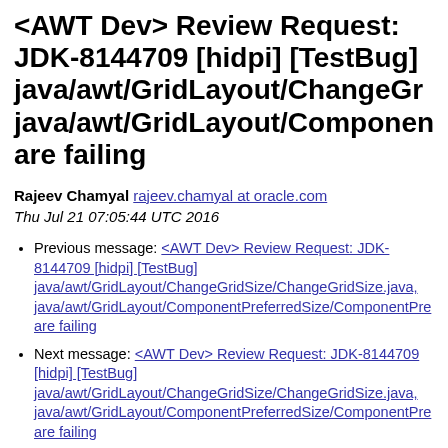<AWT Dev> Review Request: JDK-8144709 [hidpi] [TestBug] java/awt/GridLayout/ChangeGr… java/awt/GridLayout/Componen… are failing
Rajeev Chamyal rajeev.chamyal at oracle.com
Thu Jul 21 07:05:44 UTC 2016
Previous message: <AWT Dev> Review Request: JDK-8144709 [hidpi] [TestBug] java/awt/GridLayout/ChangeGridSize/ChangeGridSize.java, java/awt/GridLayout/ComponentPreferredSize/ComponentPre… are failing
Next message: <AWT Dev> Review Request: JDK-8144709 [hidpi] [TestBug] java/awt/GridLayout/ChangeGridSize/ChangeGridSize.java, java/awt/GridLayout/ComponentPreferredSize/ComponentPre… are failing